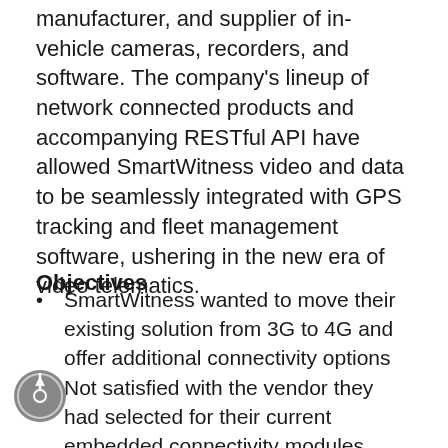manufacturer, and supplier of in-vehicle cameras, recorders, and software. The company's lineup of network connected products and accompanying RESTful API have allowed SmartWitness video and data to be seamlessly integrated with GPS tracking and fleet management software, ushering in the new era of video telematics.
Objectives
SmartWitness wanted to move their existing solution from 3G to 4G and offer additional connectivity options
Not satisfied with the vendor they had selected for their current embedded connectivity modules, SmartWitness